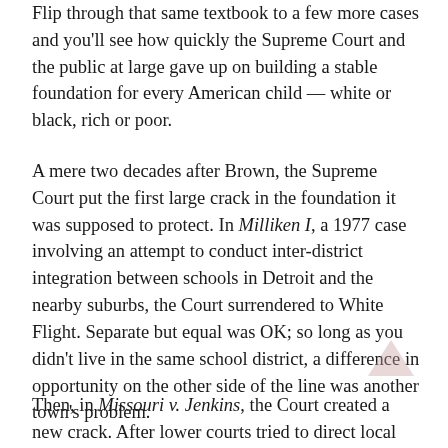Flip through that same textbook to a few more cases and you'll see how quickly the Supreme Court and the public at large gave up on building a stable foundation for every American child — white or black, rich or poor.
A mere two decades after Brown, the Supreme Court put the first large crack in the foundation it was supposed to protect. In Milliken I, a 1977 case involving an attempt to conduct inter-district integration between schools in Detroit and the nearby suburbs, the Court surrendered to White Flight. Separate but equal was OK; so long as you didn't live in the same school district, a difference in opportunity on the other side of the line was another town's problem.
Then, in Missouri v. Jenkins, the Court created a new crack. After lower courts tried to direct local tax funds